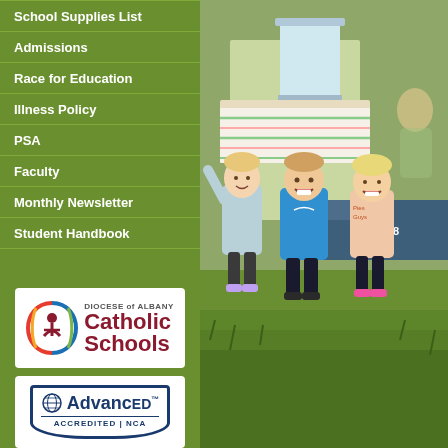School Supplies List
Admissions
Race for Education
Illness Policy
PSA
Faculty
Monthly Newsletter
Student Handbook
[Figure (logo): Diocese of Albany Catholic Schools logo with colorful circular arc design and red Catholic Schools text]
[Figure (logo): AdvancED Accredited NCA logo with globe icon and shield border]
[Figure (photo): Three young children standing outside near a lemonade stand on grass, smiling]